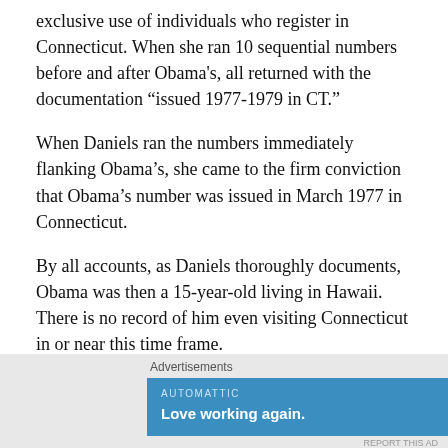exclusive use of individuals who register in Connecticut. When she ran 10 sequential numbers before and after Obama's, all returned with the documentation "issued 1977-1979 in CT."
When Daniels ran the numbers immediately flanking Obama's, she came to the firm conviction that Obama's number was issued in March 1977 in Connecticut.
By all accounts, as Daniels thoroughly documents, Obama was then a 15-year-old living in Hawaii.  There is no record of him even visiting Connecticut in or near this time frame.
As a 15- year old tourist in Connecticut, Obama stops off to get his social security card
[Figure (other): Advertisement banner: Automattic - Love working again.]